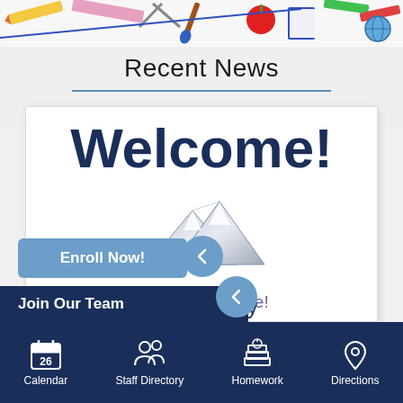[Figure (illustration): Colorful school supplies banner at the top of the page]
Recent News
[Figure (illustration): Card showing Welcome! text with mountain logo for a Preparatory School, with text 'see what's inside!']
Enroll Now!
Join Our Team
Calendar  Staff Directory  Homework  Directions